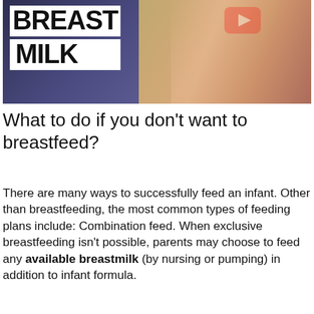[Figure (screenshot): Video thumbnail showing the text 'BREAST MILK' in bold on white boxes over a dark and warm-toned background with a woman smiling and holding a green vegetable, and a YouTube play button icon in the top right area.]
What to do if you don't want to breastfeed?
There are many ways to successfully feed an infant. Other than breastfeeding, the most common types of feeding plans include: Combination feed. When exclusive breastfeeding isn't possible, parents may choose to feed any available breastmilk (by nursing or pumping) in addition to infant formula.